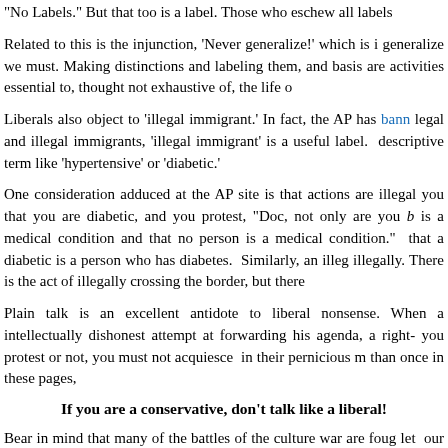"No Labels." But that too is a label. Those who eschew all labels
Related to this is the injunction, 'Never generalize!' which is i generalize we must. Making distinctions and labeling them, and basis are activities essential to, thought not exhaustive of, the life o
Liberals also object to 'illegal immigrant.' In fact, the AP has bann legal and illegal immigrants, 'illegal immigrant' is a useful label. descriptive term like 'hypertensive' or 'diabetic.'
One consideration adduced at the AP site is that actions are illegal you that you are diabetic, and you protest, "Doc, not only are you b is a medical condition and that no person is a medical condition." that a diabetic is a person who has diabetes. Similarly, an illeg illegally. There is the act of illegally crossing the border, but there
Plain talk is an excellent antidote to liberal nonsense. When a intellectually dishonest attempt at forwarding his agenda, a right- you protest or not, you must not acquiesce in their pernicious m than once in these pages,
If you are a conservative, don't talk like a liberal!
Bear in mind that many of the battles of the culture war are foug let our opponents destroy the common language in which alone much more is lost than these particular debates. The liberal- determination to win politically at all costs and by any means, inclu